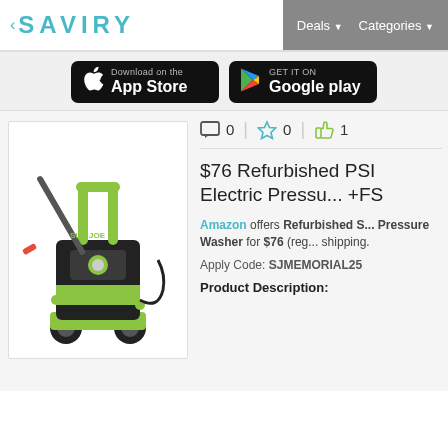SAVIRY | Deals  Categories
[Figure (screenshot): App Store and Google Play download buttons on dark background]
[Figure (photo): Sun Joe electric pressure washer, black and green, on white background]
0  0  1
$76 Refurbished PSI Electric Pressure +FS
Amazon offers Refurbished S... Pressure Washer for $76 (reg... shipping.
Apply Code: SJMEMORIAL25
Product Description: